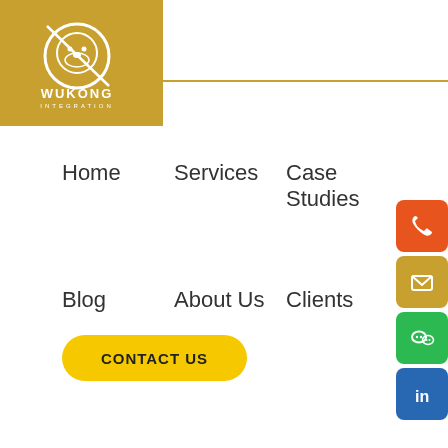[Figure (logo): Wukong Integration logo — gold square background with white circular monkey illustration and WUKONG INTEGRATION text]
Home
Services
Case Studies
Blog
About Us
Clients
CONTACT US
[Figure (illustration): Orange rounded square icon with white phone handset]
[Figure (illustration): Gold/amber rounded square icon with white envelope]
[Figure (illustration): Green rounded square icon with white WeChat logo]
[Figure (illustration): Blue rounded square icon with white LinkedIn 'in' logo]